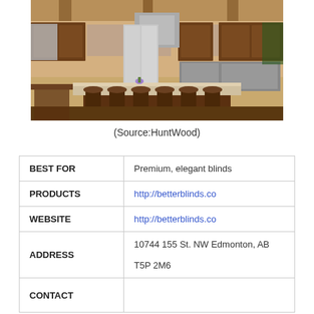[Figure (photo): Interior photo of a luxury kitchen with dark wood cabinetry, bar stools at an island, stainless steel appliances, and stone tile backsplash]
(Source:HuntWood)
| BEST FOR | Premium, elegant blinds |
| PRODUCTS | http://betterblinds.co |
| WEBSITE | http://betterblinds.co |
| ADDRESS | 10744 155 St. NW Edmonton, AB
T5P 2M6 |
| CONTACT |  |